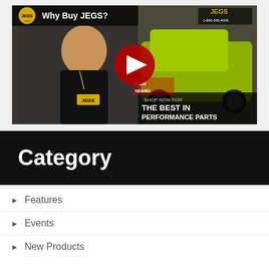[Figure (screenshot): YouTube video thumbnail for 'Why Buy JEGS?' showing a man in a JEGS polo shirt and a yellow sports car with text 'SHOP NOW FOR THE BEST IN PERFORMANCE PARTS' and a YouTube play button overlay]
Category
Features
Events
New Products